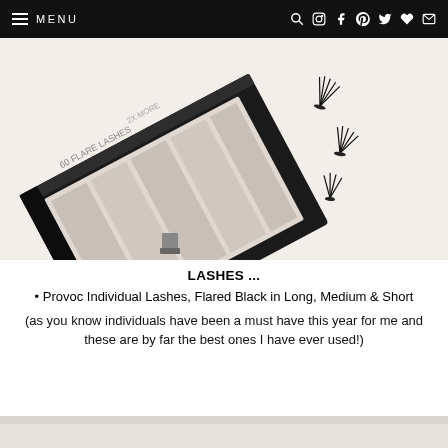MENU
[Figure (photo): Black eyelash extension kit/tray box showing 60 Flare Lashes with 2X More label, with individual flare lash clusters scattered on white surface to the right]
LASHES ...
Provoc Individual Lashes, Flared Black in Long, Medium & Short
(as you know individuals have been a must have this year for me and these are by far the best ones I have ever used!)
[Figure (photo): Partial view of another product image at the bottom of the page]